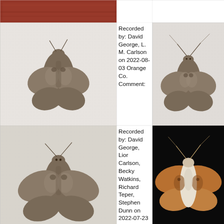[Figure (photo): Top-left cell: close-up photo of reddish-brown surface (partial moth or substrate)]
[Figure (photo): Top-center cell: blank white cell]
[Figure (photo): Top-right cell: blank white cell]
[Figure (photo): Middle-left cell: photo of a brown moth on white mesh/fabric background, dorsal view]
Recorded by: David George, L. M. Carlson on 2022-08-03 Orange Co. Comment:
[Figure (photo): Middle-right cell: photo of a brown moth on white mesh/fabric background, dorsal view, similar to middle-left]
[Figure (photo): Bottom-left cell: photo of a brown moth on white mesh/fabric background, dorsal view, wings spread]
Recorded by: David George, Lior Carlson, Becky Watkins, Richard Teper, Stephen Dunn on 2022-07-23 Orange Co. Comment:
[Figure (photo): Bottom-right cell: photo of a moth on black background, dorsal view, with orange/brown and white coloring]